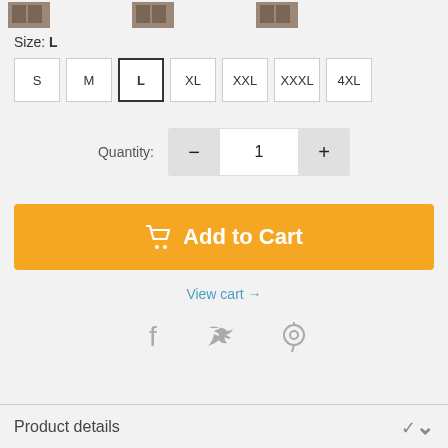[Figure (screenshot): Partial product thumbnail images at top of page]
Size: L
S
M
L
XL
XXL
XXXL
4XL
Quantity: 1
Add to Cart
View cart →
[Figure (illustration): Social sharing icons: Facebook, Twitter, Pinterest]
Product details